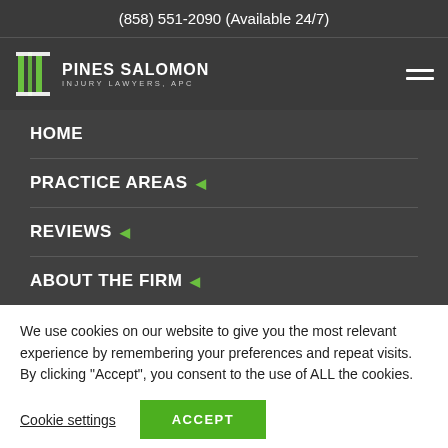(858) 551-2090 (Available 24/7)
[Figure (logo): Pines Salomon Injury Lawyers, APC logo with green pillar icon and firm name in white text]
HOME
PRACTICE AREAS ◄
REVIEWS ◄
ABOUT THE FIRM ◄
We use cookies on our website to give you the most relevant experience by remembering your preferences and repeat visits. By clicking "Accept", you consent to the use of ALL the cookies.
Cookie settings  ACCEPT